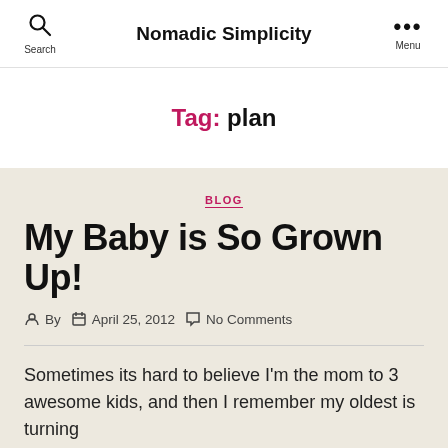Search | Nomadic Simplicity | Menu
Tag: plan
BLOG
My Baby is So Grown Up!
By  April 25, 2012  No Comments
Sometimes its hard to believe I'm the mom to 3 awesome kids, and then I remember my oldest is turning